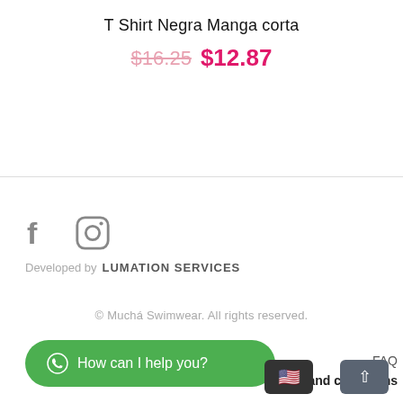T Shirt Negra Manga corta
$16.25 $12.87
Developed by LUMATION SERVICES
© Muchá Swimwear. All rights reserved.
FAQ
Terms and conditions
How can I help you?